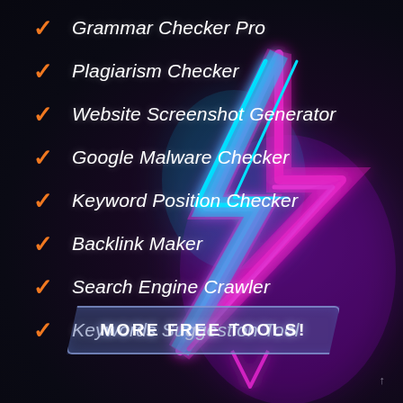[Figure (illustration): Dark background with neon glowing lightning bolt in cyan and magenta/pink colors, centered-right on the image]
Grammar Checker Pro
Plagiarism Checker
Website Screenshot Generator
Google Malware Checker
Keyword Position Checker
Backlink Maker
Search Engine Crawler
Keywords Suggestion Tool
MORE FREE TOOLS!